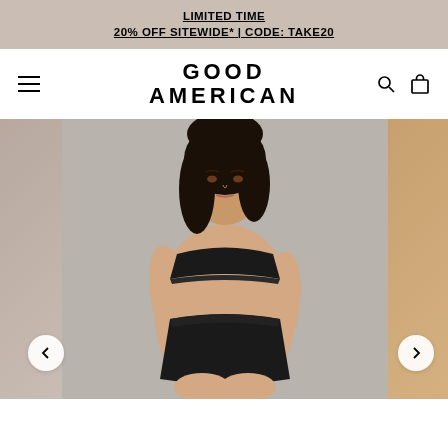LIMITED TIME
20% OFF SITEWIDE* | CODE: TAKE20
GOOD AMERICAN
[Figure (photo): E-commerce website screenshot for Good American showing a model wearing a black bandeau bikini top and high-cut black bikini bottoms, on a neutral grey background. The page has an announcement bar, navigation bar with logo, and a product image carousel with left/right navigation arrows.]